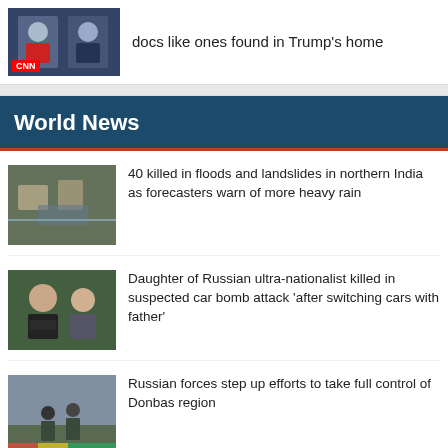[Figure (photo): CNN news thumbnail showing two anchors]
docs like ones found in Trump's home
[Figure (photo): World News section header with CNN branding]
World News
[Figure (photo): Aerial view of floods and landslides in northern India]
40 killed in floods and landslides in northern India as forecasters warn of more heavy rain
[Figure (photo): Photo of Russian ultra-nationalist and his daughter]
Daughter of Russian ultra-nationalist killed in suspected car bomb attack ‘after switching cars with father’
[Figure (photo): Russian forces in Donbas region]
Russian forces step up efforts to take full control of Donbas region
[Figure (photo): Hotel attack scene]
At least 12 killed in hotel attack claimed by a